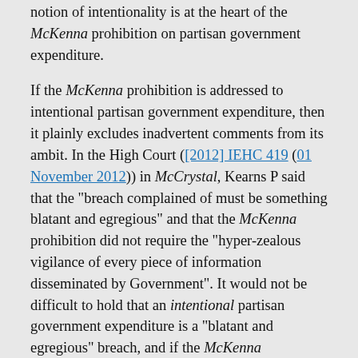notion of intentionality is at the heart of the McKenna prohibition on partisan government expenditure.
If the McKenna prohibition is addressed to intentional partisan government expenditure, then it plainly excludes inadvertent comments from its ambit. In the High Court ([2012] IEHC 419 (01 November 2012)) in McCrystal, Kearns P said that the "breach complained of must be something blatant and egregious" and that the McKenna prohibition did not require the "hyper-zealous vigilance of every piece of information disseminated by Government". It would not be difficult to hold that an intentional partisan government expenditure is a "blatant and egregious" breach, and if the McKenna prohibition is addressed only to such intentional expenditure and not to inadvertent comments, then there is no need for such hyper-zealous vigilance of government commentary.